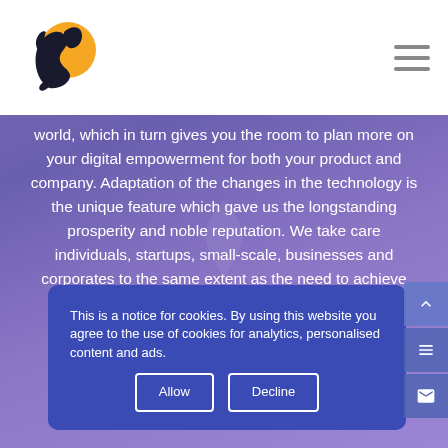[Figure (logo): Horse/lion head logo with orange sun circle background, company logo in header]
world, which in turn gives you the room to plan more on your digital empowerment for both your product and company. Adaptation of the changes in the technology is the unique feature which gave us the longstanding prosperity and noble reputation. We take care individuals, startups, small-scale, businesses and corporates to the same extent as the need to achieve progress on their project and ROI.
This is a notice for cookies. By using this website you agree to the use of cookies for analytics, personalised content and ads.